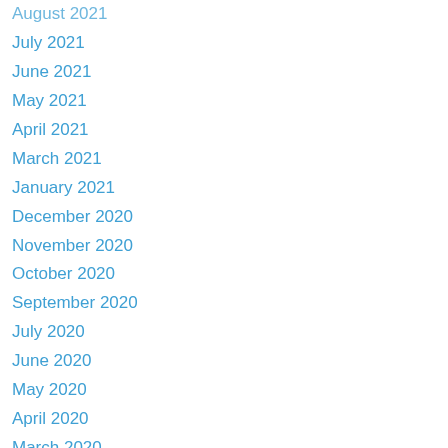August 2021
July 2021
June 2021
May 2021
April 2021
March 2021
January 2021
December 2020
November 2020
October 2020
September 2020
July 2020
June 2020
May 2020
April 2020
March 2020
February 2020
January 2020
December 2019
November 2019
October 2019